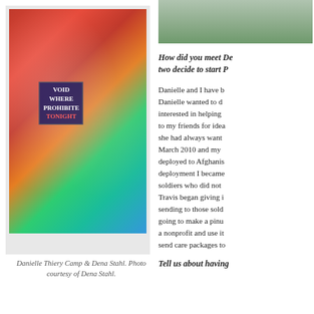[Figure (photo): Two women posing next to a colorful painted surfboard with text 'VOID WHERE PROHIBITED TONIGHT'. The woman on the left wears a red dress, the woman on the right wears an olive/dark dress.]
Danielle Thiery Camp & Dena Stahl. Photo courtesy of Dena Stahl.
[Figure (photo): Partial photo visible at top right corner of page, showing what appears to be an outdoor scene with stone wall.]
How did you meet De two decide to start P
Danielle and I have b Danielle wanted to d interested in helping to my friends for idea she had always want March 2010 and my deployed to Afghani deployment I became soldiers who did not Travis began giving i sending to those sold going to make a pinu a nonprofit and use i send care packages to
Tell us about having